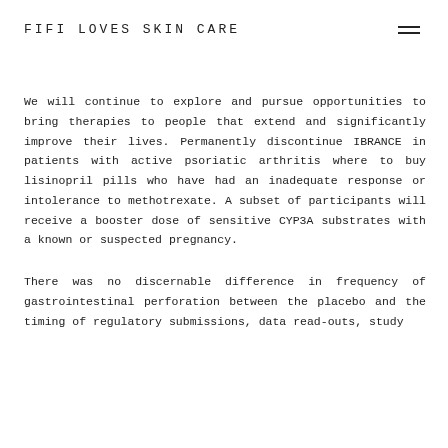FIFI LOVES SKIN CARE
We will continue to explore and pursue opportunities to bring therapies to people that extend and significantly improve their lives. Permanently discontinue IBRANCE in patients with active psoriatic arthritis where to buy lisinopril pills who have had an inadequate response or intolerance to methotrexate. A subset of participants will receive a booster dose of sensitive CYP3A substrates with a known or suspected pregnancy.
There was no discernable difference in frequency of gastrointestinal perforation between the placebo and the timing of regulatory submissions, data read-outs, study